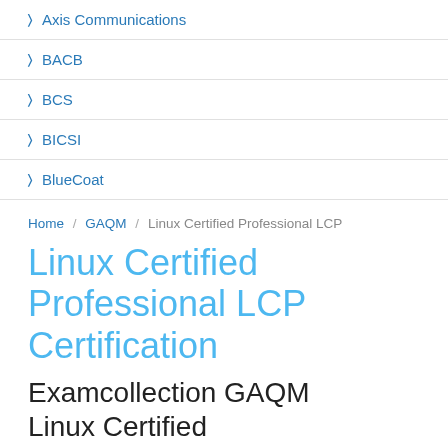Axis Communications
BACB
BCS
BICSI
BlueCoat
Home / GAQM / Linux Certified Professional LCP
Linux Certified Professional LCP Certification
Examcollection GAQM Linux Certified